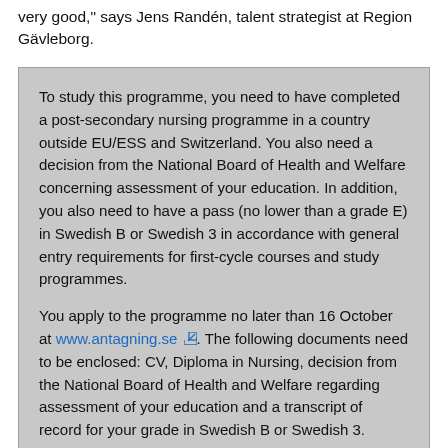very good," says Jens Randén, talent strategist at Region Gävleborg.
To study this programme, you need to have completed a post-secondary nursing programme in a country outside EU/ESS and Switzerland. You also need a decision from the National Board of Health and Welfare concerning assessment of your education. In addition, you also need to have a pass (no lower than a grade E) in Swedish B or Swedish 3 in accordance with general entry requirements for first-cycle courses and study programmes.

You apply to the programme no later than 16 October at www.antagning.se. The following documents need to be enclosed: CV, Diploma in Nursing, decision from the National Board of Health and Welfare regarding assessment of your education and a transcript of record for your grade in Swedish B or Swedish 3.